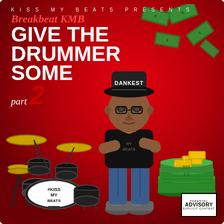[Figure (illustration): Music mixtape cover art for 'Breakbeat KMB – Give The Drummer Some Part 2' by Kiss My Beats. Red background with cartoon illustration of a young man wearing a 'DANKEST' cap, black t-shirt with 'Kiss My Beats' logo, standing beside a drum kit with '#KISS MY BEATS' on the bass drum head. Flying money bills in the top right, a pile of cash and gold bars in the bottom right. Parental Advisory Explicit Content sticker in bottom right corner.]